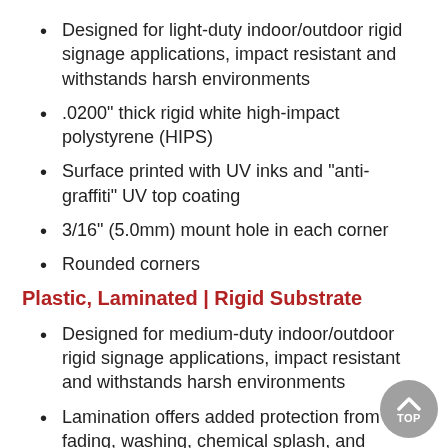Designed for light-duty indoor/outdoor rigid signage applications, impact resistant and withstands harsh environments
.0200" thick rigid white high-impact polystyrene (HIPS)
Surface printed with UV inks and "anti-graffiti" UV top coating
3/16" (5.0mm) mount hole in each corner
Rounded corners
Plastic, Laminated | Rigid Substrate
Designed for medium-duty indoor/outdoor rigid signage applications, impact resistant and withstands harsh environments
Lamination offers added protection from UV fading, washing, chemical splash, and abrasion
.0200" thick rigid white high-impact polystyrene (HIPS)